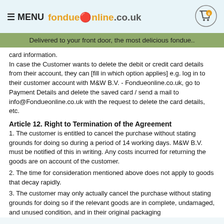≡ MENU fondueonline.co.uk
Delivered to your front door, the most delicious fondue..
card information.
In case the Customer wants to delete the debit or credit card details from their account, they can [fill in which option applies] e.g. log in to their customer account with M&W B.V. - Fondueonline.co.uk, go to Payment Details and delete the saved card / send a mail to info@Fondueonline.co.uk with the request to delete the card details, etc.
Article 12. Right to Termination of the Agreement
1. The customer is entitled to cancel the purchase without stating grounds for doing so during a period of 14 working days. M&W B.V. must be notified of this in writing. Any costs incurred for returning the goods are on account of the customer.
2. The time for consideration mentioned above does not apply to goods that decay rapidly.
3. The customer may only actually cancel the purchase without stating grounds for doing so if the relevant goods are in complete, undamaged, and unused condition, and in their original packaging